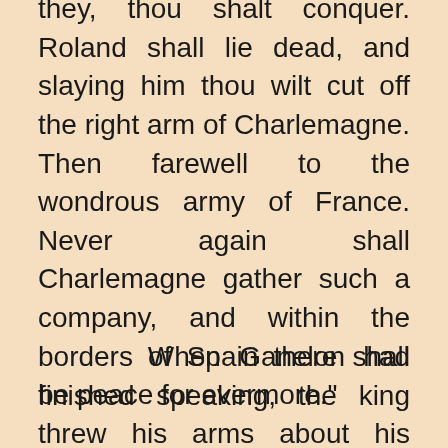they, thou shalt conquer. Roland shall lie dead, and slaying him thou wilt cut off the right arm of Charlemagne. Then farewell to the wondrous army of France. Never again shall Charlemagne gather such a company, and within the borders of Spain there shall be peace for evermore."
When Ganelon had finished speaking, the king threw his arms about his neck, and kissed him